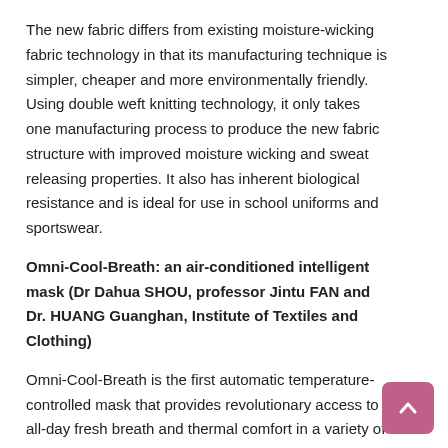The new fabric differs from existing moisture-wicking fabric technology in that its manufacturing technique is simpler, cheaper and more environmentally friendly. Using double weft knitting technology, it only takes one manufacturing process to produce the new fabric structure with improved moisture wicking and sweat releasing properties. It also has inherent biological resistance and is ideal for use in school uniforms and sportswear.
Omni-Cool-Breath: an air-conditioned intelligent mask (Dr Dahua SHOU, professor Jintu FAN and Dr. HUANG Guanghan, Institute of Textiles and Clothing)
Omni-Cool-Breath is the first automatic temperature-controlled mask that provides revolutionary access to all-day fresh breath and thermal comfort in a variety of activities and thermal conditions. It reduces temperature by 12°C and humidity by 65% under low voltage via an innovative miniature thermoelectric cooling system. The lightweight, ergonomically designed mask uses biodegradable, skin-friendly 3D printing materials that allow the user to enjoy nine hours of clean air.